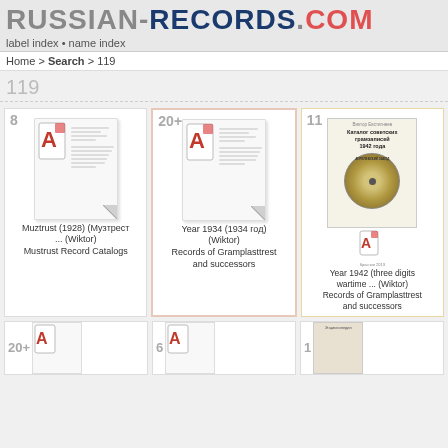RUSSIAN-RECORDS.COM label index • name index
Home > Search > 119
119
[Figure (screenshot): Document thumbnail with PDF icon, badge number 8, for Muztrust (1928) (Музтрест ... (Wiktor)) Mustrust Record Catalogs]
Muztrust (1928) (Музтрест ... (Wiktor)) Mustrust Record Catalogs
[Figure (screenshot): Document thumbnail with PDF icon and 20+ badge for Year 1934 (1934 год) (Wiktor) Records of Gramplasttrest and successors]
Year 1934 (1934 год) (Wiktor) Records of Gramplasttrest and successors
[Figure (screenshot): Book cover thumbnail with record label image and PDF icon, badge 11, for Year 1942 (three digits wartime ... (Wiktor)) Records of Gramplasttrest and successors]
Year 1942 (three digits wartime ... (Wiktor)) Records of Gramplasttrest and successors
[Figure (screenshot): Bottom row partial thumbnails with badges 20+, 6, 1]